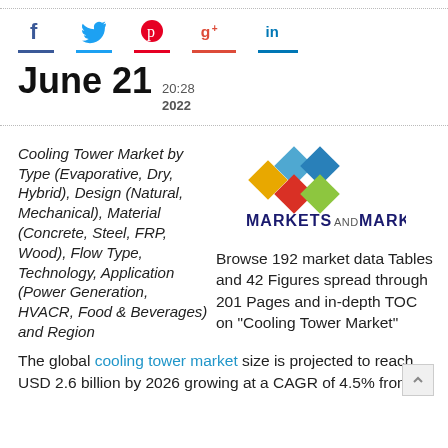[Figure (infographic): Social media share icons: Facebook (f), Twitter (bird), Pinterest (p), Google+ (g+), LinkedIn (in) with colored underlines]
June 21 20:28 2022
Cooling Tower Market by Type (Evaporative, Dry, Hybrid), Design (Natural, Mechanical), Material (Concrete, Steel, FRP, Wood), Flow Type, Technology, Application (Power Generation, HVACR, Food & Beverages) and Region
[Figure (logo): MarketsandMarkets logo with colorful diamond shapes]
Browse 192 market data Tables and 42 Figures spread through 201 Pages and in-depth TOC on "Cooling Tower Market"
The global cooling tower market size is projected to reach USD 2.6 billion by 2026 growing at a CAGR of 4.5% from